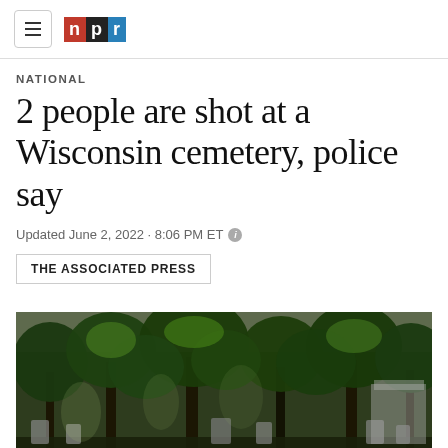NPR
NATIONAL
2 people are shot at a Wisconsin cemetery, police say
Updated June 2, 2022 · 8:06 PM ET
THE ASSOCIATED PRESS
[Figure (photo): Cemetery scene with large trees and gravestones in daylight, dark shaded image]